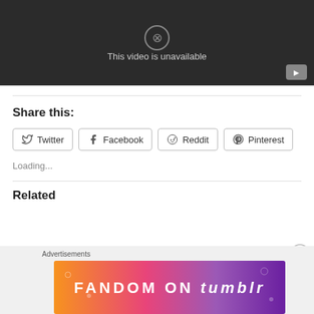[Figure (screenshot): YouTube video player showing 'This video is unavailable' message on dark background with YouTube icon in bottom right]
Share this:
Twitter Facebook Reddit Pinterest
Loading...
Related
Advertisements
[Figure (illustration): Fandom on Tumblr promotional banner with colorful gradient background (orange to purple) and white text]